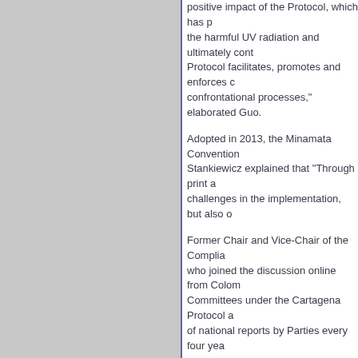positive impact of the Protocol, which has p... the harmful UV radiation and ultimately cont... Protocol facilitates, promotes and enforces c... confrontational processes," elaborated Guo.
Adopted in 2013, the Minamata Convention... Stankiewicz explained that "Through print a... challenges in the implementation, but also o...
Former Chair and Vice-Chair of the Complia... who joined the discussion online from Colom... Committees under the Cartagena Protocol a... of national reports by Parties every four yea...
Next to take the floor was Ms. Amy Fraenkel... 1979. She stated: "We are the only legally bi... and our compliance mechanism is based on... the ground, where there are issues, and inve...
UNEP Executive Director Ms. Inger Anderse... compliance by making a connection with the... forging of an international legally binding agr... the only MEA addressing plastic waste, lega... environmentally sound manner and strictly c... manage it in environmentally sustainable wa...
"We, at UNEP, are tremendously proud to be...